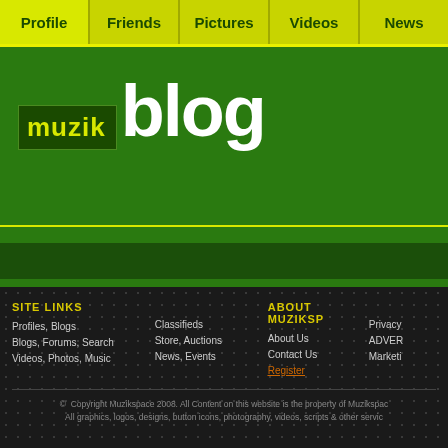Profile | Friends | Pictures | Videos | News
[Figure (logo): Muzik Blog logo — 'muzik' in yellow on dark green box, 'blog' in large white text on green background]
SITE LINKS | ABOUT MUZIKSPACE
Profiles, Blogs | Classifieds | About Us | Privacy
Blogs, Forums, Search | Store, Auctions | Contact Us | ADVER
Videos, Photos, Music | News, Events | Register | Marketi
© Copyright Muzikspace 2008. All Content on this website is the property of Muzikspace. All graphics, logos, designs, button icons, photography, videos, scripts & other servic